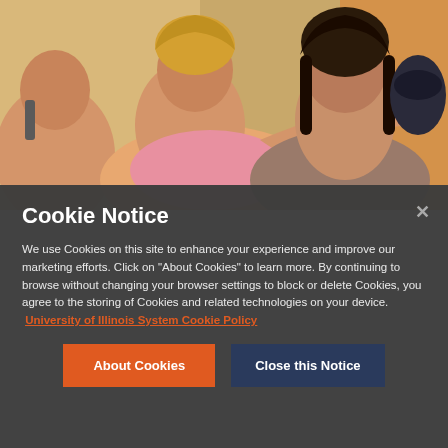[Figure (photo): Photo of students in a classroom setting, including a student with highlighted hair reaching toward a tablet or device, another student in a pink top, and a student with dark hair looking at the camera.]
Cookie Notice
We use Cookies on this site to enhance your experience and improve our marketing efforts. Click on "About Cookies" to learn more. By continuing to browse without changing your browser settings to block or delete Cookies, you agree to the storing of Cookies and related technologies on your device. University of Illinois System Cookie Policy
About Cookies
Close this Notice